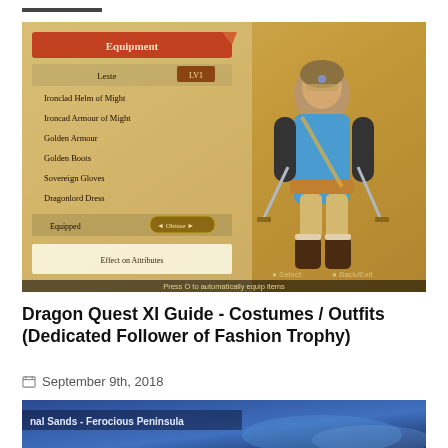[Figure (screenshot): Dragon Quest XI equipment screen showing a character in blue costume holding two swords, with an equipment menu panel on the left side showing various items. Text at bottom reads 'Press O to automatically equip items'.]
Dragon Quest XI Guide - Costumes / Outfits (Dedicated Follower of Fashion Trophy)
September 9th, 2018
[Figure (screenshot): Dragon Quest XI screenshot showing a blue-toned environment, partially visible. Text overlay reads 'nal Sands - Ferocious Peninsula'.]